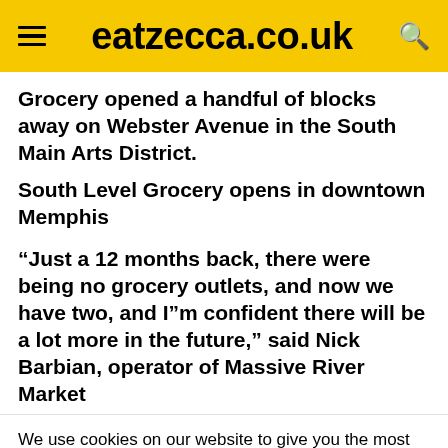eatzecca.co.uk
Grocery opened a handful of blocks away on Webster Avenue in the South Main Arts District.
South Level Grocery opens in downtown Memphis
“Just a 12 months back, there were being no grocery outlets, and now we have two, and I”m confident there will be a lot more in the future,” said Nick Barbian, operator of Massive River Market
We use cookies on our website to give you the most relevant experience by remembering your preferences and repeat visits. By clicking “Accept All”, you consent to the use of ALL the cookies. However, you may visit “Cookie Settings” to provide a controlled consent.
This website stores data such as cookies to enable necessary site functionality, including analytics, targeting, and personalization. By remaining on this website you indicate your consent Cookie Policy